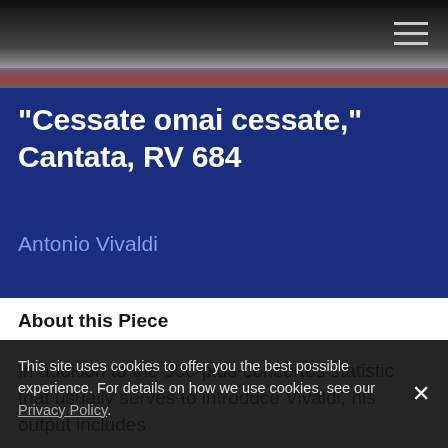"Cessate omai cessate," Cantata, RV 684
Antonio Vivaldi
About this Piece
In addition to the 500-plus-concertos statistic that usually serves to introduce Vivaldi, his output includes
This site uses cookies to offer you the best possible experience. For details on how we use cookies, see our Privacy Policy.